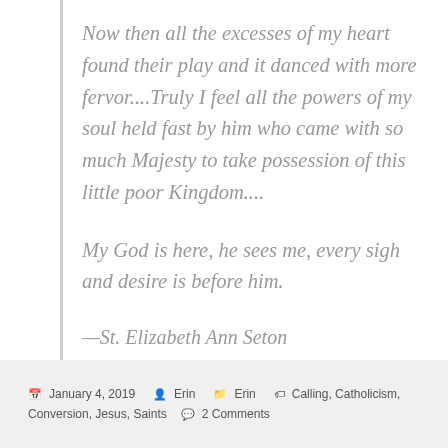Now then all the excesses of my heart found their play and it danced with more fervor....Truly I feel all the powers of my soul held fast by him who came with so much Majesty to take possession of this little poor Kingdom....

My God is here, he sees me, every sigh and desire is before him.
—St. Elizabeth Ann Seton
January 4, 2019   Erin   Erin   Calling, Catholicism, Conversion, Jesus, Saints   2 Comments